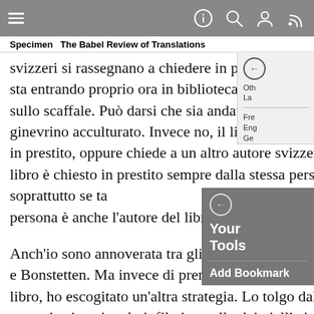Specimen  The Babel Review of Translations
svizzeri si rassegnano a chiedere in prestito i propri libri. Questo signore, per esempio, che sta entrando proprio ora in biblioteca, è un autore svizzero. Viene a vedere se il suo libro è sullo scaffale. Può darsi che sia andato a finire – o almeno così spera – a casa di qualche ginevrino acculturato. Invece no, il libro è ancora lì. Con il cuore greve, lo prende di nuovo in prestito, oppure chiede a un altro autore svizzero di fare questa cosa per lui. Perché se un libro è chiesto in prestito sempre dalla stessa persona, finisce che qualcuno se ne accorge, soprattutto se tale persona è anche l'autore del libro.
Anch'io sono annoverata tra gli autori svizzeri. Tra Rousseau e Bonstetten. Ma invece di prendere in prestito il mio stesso libro, ho escogitato un'altra strategia. Lo tolgo dal reparto «autori svizzeri» e lo infilo in quello dei giallisti scandinavi. In dieci minuti, è già tra le mani di una ginevrina o un ginevrino smanioso di conoscere il suo prossimo ispettore alcolizzato. Per fortuna la trama del mio libro si svolge in inverno, e nevica persino un po',